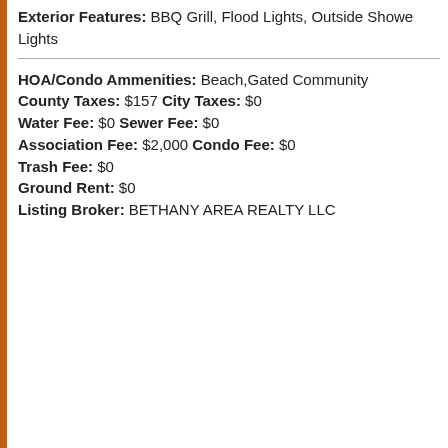Exterior Features: BBQ Grill, Flood Lights, Outside Shower, Lights
HOA/Condo Ammenities: Beach,Gated Community County Taxes: $157 City Taxes: $0 Water Fee: $0 Sewer Fee: $0 Association Fee: $2,000 Condo Fee: $0 Trash Fee: $0 Ground Rent: $0 Listing Broker: BETHANY AREA REALTY LLC